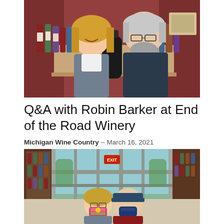[Figure (photo): A smiling woman with blonde hair and a man with gray hair and beard standing inside a winery, with wine bottles visible on shelves behind them.]
Q&A with Robin Barker at End of the Road Winery
Michigan Wine Country – March 16, 2021
[Figure (photo): Two people wearing face masks standing inside a winery near glass doors with an EXIT sign visible above. Wine bottles and displays visible in background.]